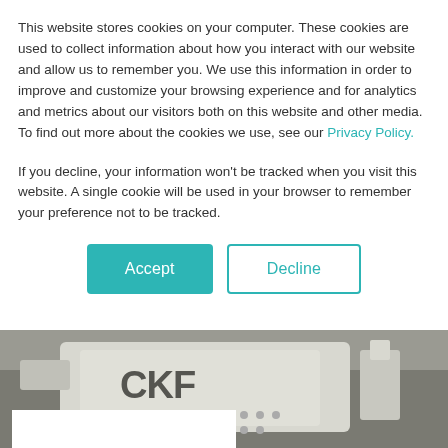This website stores cookies on your computer. These cookies are used to collect information about how you interact with our website and allow us to remember you. We use this information in order to improve and customize your browsing experience and for analytics and metrics about our visitors both on this website and other media. To find out more about the cookies we use, see our Privacy Policy.
If you decline, your information won't be tracked when you visit this website. A single cookie will be used in your browser to remember your preference not to be tracked.
[Figure (other): Two buttons: a teal/green 'Accept' button and a white 'Decline' button with teal border]
[Figure (photo): Industrial machine with 'CKF' branding, white metal casing with circular ventilation holes, photographed in a factory setting]